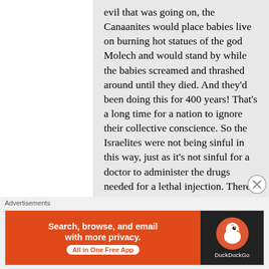evil that was going on, the Canaanites would place babies live on burning hot statues of the god Molech and would stand by while the babies screamed and thrashed around until they died. And they'd been doing this for 400 years! That's a long time for a nation to ignore their collective conscience. So the Israelites were not being sinful in this way, just as it's not sinful for a doctor to administer the drugs needed for a lethal injection. There'd been a
Advertisements